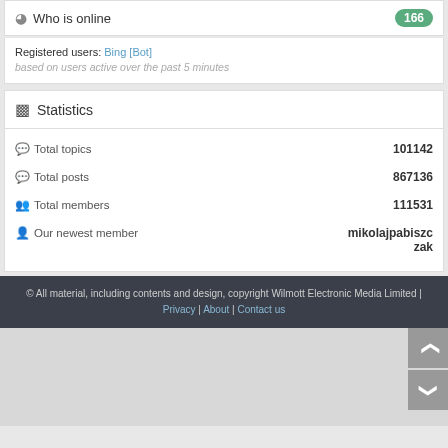Who is online — 166
Registered users: Bing [Bot]
based on users active over the past 5 minutes
Statistics
|  |  |
| --- | --- |
| Total topics | 101142 |
| Total posts | 867136 |
| Total members | 111531 |
| Our newest member | mikolajpabiszczak |
© All material, including contents and design, copyright Wilmott Electronic Media Limited | Privacy | About | Contact us